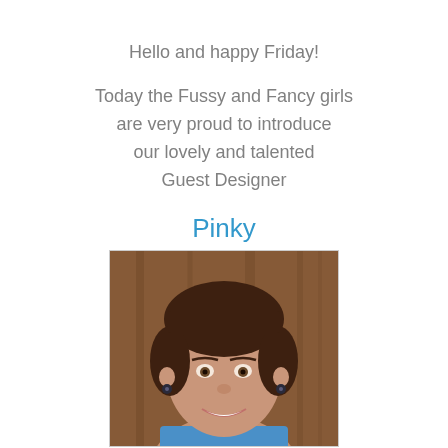Hello and happy Friday!
Today the Fussy and Fancy girls are very proud to introduce our lovely and talented Guest Designer
Pinky
[Figure (photo): Portrait photo of a woman with short brown hair, smiling, wearing blue, against a wooden background]